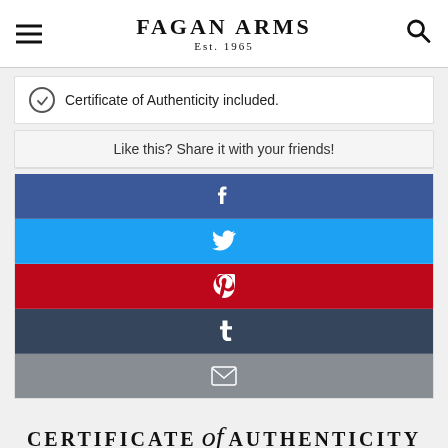Fagan Arms Est. 1965
Certificate of Authenticity included.
Like this? Share it with your friends!
[Figure (infographic): Social share buttons: Facebook (blue), Twitter (light blue), Pinterest (red), Tumblr (dark navy), Email (gray)]
Certificate of Authenticity